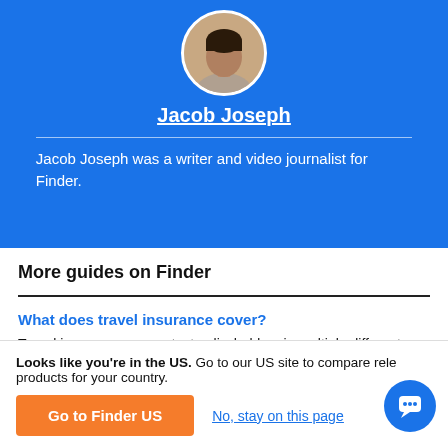[Figure (photo): Circular profile photo of Jacob Joseph, a person in a light-colored shirt against a neutral background]
Jacob Joseph
Jacob Joseph was a writer and video journalist for Finder.
More guides on Finder
What does travel insurance cover?
Travel insurance can protect policyholders in multiple different ways, including trip cancellations and cover for
Looks like you're in the US. Go to our US site to compare relevant products for your country.
Go to Finder US
No, stay on this page